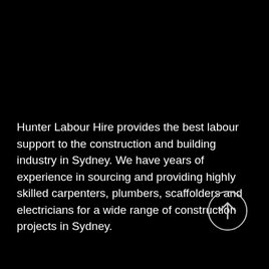Hunter Labour Hire provides the best labour support to the construction and building industry in Sydney. We have years of experience in sourcing and providing highly skilled carpenters, plumbers, scaffolders and electricians for a wide range of construction projects in Sydney.
[Figure (illustration): Circular button with an upward-pointing arrow icon, styled with a white outline circle on black background.]